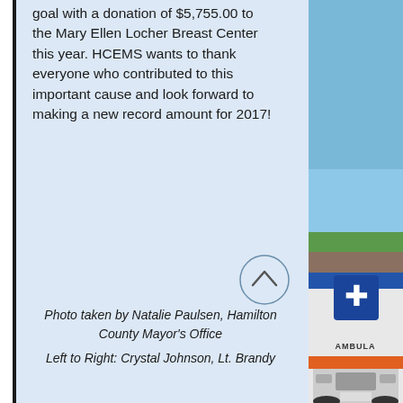goal with a donation of $5,755.00 to the Mary Ellen Locher Breast Center this year. HCEMS wants to thank everyone who contributed to this important cause and look forward to making a new record amount for 2017!
[Figure (photo): Scroll-to-top button: a circle with an upward-pointing chevron arrow]
Photo taken by Natalie Paulsen, Hamilton County Mayor's Office
Left to Right: Crystal Johnson, Lt. Brandy
[Figure (photo): Partial photo of a Hamilton County EMS ambulance vehicle with blue sky and rooftop visible in background]